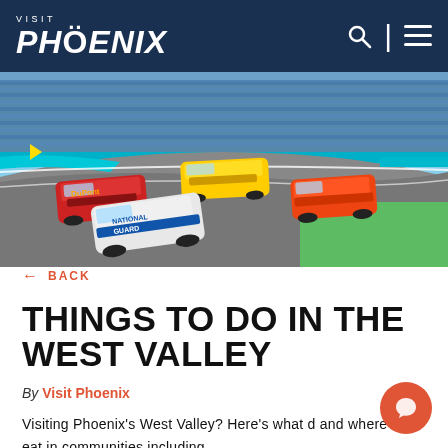VISIT PHOENIX
[Figure (photo): NASCAR race cars on a track at a large stadium, with packed grandstands visible in the background. Multiple colorful race cars including a DuPont-sponsored car and a National Guard car are visible racing on the banked oval track.]
← BACK
THINGS TO DO IN THE WEST VALLEY
By Visit Phoenix
Visiting Phoenix's West Valley? Here's what a and where to eat in communities including